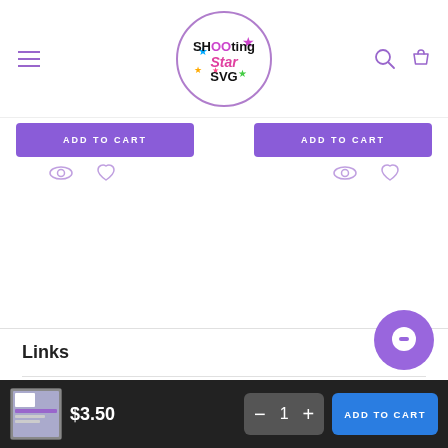[Figure (logo): Shooting Star SVG logo in a purple circle]
[Figure (other): ADD TO CART buttons with eye and heart icons below]
Links
[Figure (other): Chat bubble icon]
$3.50
1
ADD TO CART